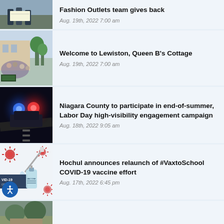[Figure (photo): Partial view of people holding a large check outdoors]
Fashion Outlets team gives back
Aug. 19th, 2022 7:00 am
[Figure (photo): Crowd of people gathered outside a building for an event]
Welcome to Lewiston, Queen B's Cottage
Aug. 19th, 2022 7:00 am
[Figure (photo): Police car with flashing red and blue lights at night]
Niagara County to participate in end-of-summer, Labor Day high-visibility engagement campaign
Aug. 18th, 2022 9:05 am
[Figure (photo): COVID-19 vaccine vials and syringes with virus particles on white background, VID-19 text visible]
Hochul announces relaunch of #VaxtoSchool COVID-19 vaccine effort
Aug. 17th, 2022 6:45 pm
[Figure (photo): Partial view of outdoor scene, bottom of page]